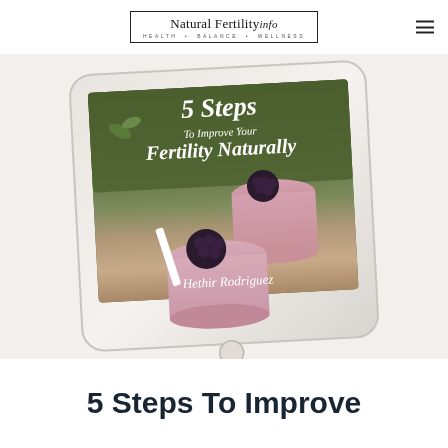Natural Fertility info — HEALTH • BALANCE • WELLNESS
[Figure (illustration): An iPad tablet displaying the book cover '5 Steps To Improve Your Fertility Naturally' by Hethir Rodriguez, featuring smoothie drinks garnished with blackberries on a wooden surface background.]
5 Steps To Improve